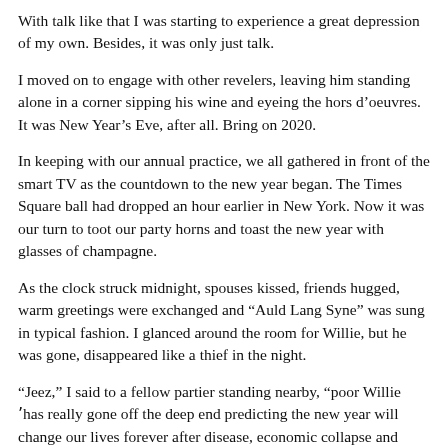With talk like that I was starting to experience a great depression of my own. Besides, it was only just talk.
I moved on to engage with other revelers, leaving him standing alone in a corner sipping his wine and eyeing the hors d’oeuvres. It was New Year’s Eve, after all. Bring on 2020.
In keeping with our annual practice, we all gathered in front of the smart TV as the countdown to the new year began. The Times Square ball had dropped an hour earlier in New York. Now it was our turn to toot our party horns and toast the new year with glasses of champagne.
As the clock struck midnight, spouses kissed, friends hugged, warm greetings were exchanged and “Auld Lang Syne” was sung in typical fashion. I glanced around the room for Willie, but he was gone, disappeared like a thief in the night.
“Jeez,” I said to a fellow partier standing nearby, “poor Willie ʼhas really gone off the deep end predicting the new year will change our lives forever after disease, economic collapse and anarchy.”